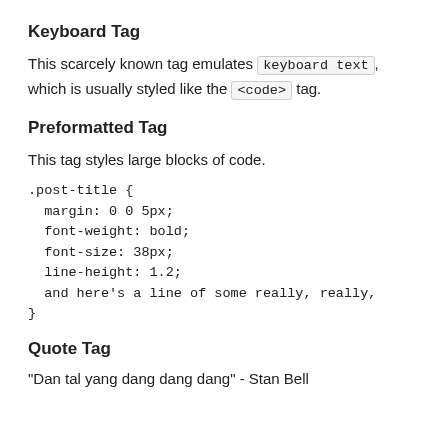Keyboard Tag
This scarcely known tag emulates keyboard text, which is usually styled like the <code> tag.
Preformatted Tag
This tag styles large blocks of code.
.post-title {
  margin: 0 0 5px;
  font-weight: bold;
  font-size: 38px;
  line-height: 1.2;
  and here's a line of some really, really,
}
Quote Tag
"Dan tal yang dang dang dang" - Stan Bell